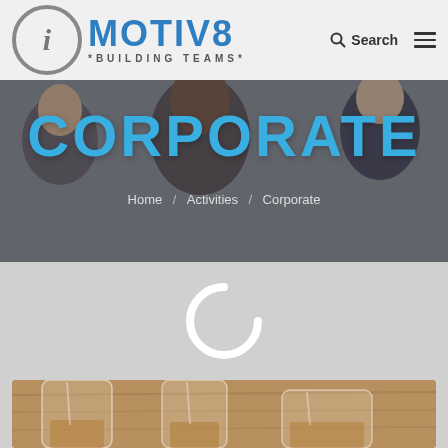[Figure (screenshot): iMotiv8 Building Teams website header with logo (circle with i, MOTIV8 text in blue, *BUILDING TEAMS* tagline), search button, and hamburger menu]
CORPORATE
Home / Activities / Corporate
[Figure (illustration): Loading spinner ring (partial circle, white outline on gray background)]
[Figure (photo): Close-up photo of whisky glasses on a wooden surface]